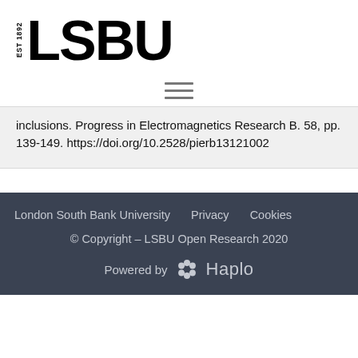[Figure (logo): LSBU logo with EST 1892 text and bold LSBU wordmark]
[Figure (other): Hamburger menu icon (three horizontal lines)]
inclusions. Progress in Electromagnetics Research B. 58, pp. 139-149. https://doi.org/10.2528/pierb13121002
London South Bank University   Privacy   Cookies
© Copyright – LSBU Open Research 2020
Powered by Haplo